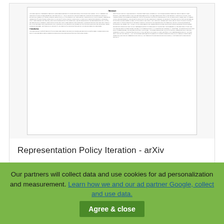[Figure (screenshot): Thumbnail of an arXiv paper page showing Abstract and Introduction sections in two-column academic format, with dense small text.]
Representation Policy Iteration - arXiv
Read more
[Figure (screenshot): Partial view of another document page bottom strip.]
Our partners will collect data and use cookies for ad personalization and measurement. Learn how we and our ad partner Google, collect and use data. Agree & close